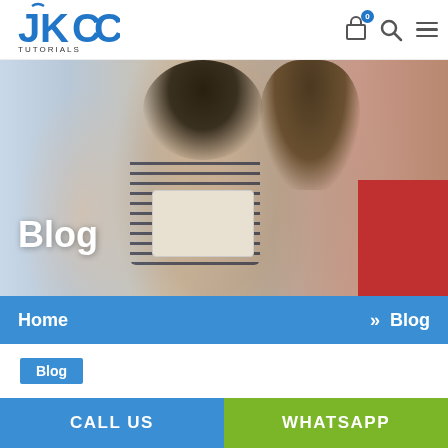[Figure (logo): KCC Tutorials logo with blue stylized letters JKC and TUTORIALS text below]
[Figure (photo): Hero banner photo showing smiling young woman with glasses reading a book, with other students in background]
Blog
Home  »  Blog
Blog
CA Foundation Complete Syllabus – Best CA
CALL US    WHATSAPP